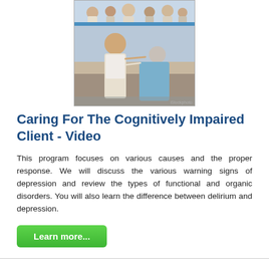[Figure (photo): A healthcare worker and an elderly patient interacting, with a group of people visible in the background. Video thumbnail with a blue stripe.]
Caring For The Cognitively Impaired Client - Video
This program focuses on various causes and the proper response. We will discuss the various warning signs of depression and review the types of functional and organic disorders. You will also learn the difference between delirium and depression.
[Figure (other): Green 'Learn more...' button]
[Figure (other): Partial image of a 'FIRE SAFETY' book or resource with dark cover and white lettering, visible at the bottom of the page.]